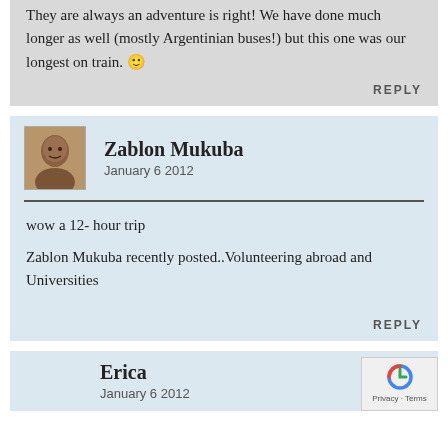They are always an adventure is right! We have done much longer as well (mostly Argentinian buses!) but this one was our longest on train. 🙂
REPLY
Zablon Mukuba
January 6 2012
wow a 12- hour trip
Zablon Mukuba recently posted..Volunteering abroad and Universities
REPLY
Erica
January 6 2012